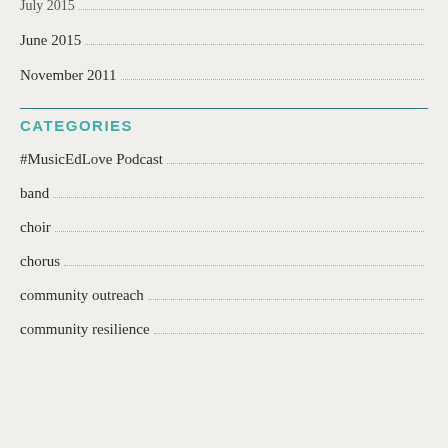July 2015
June 2015
November 2011
CATEGORIES
#MusicEdLove Podcast
band
choir
chorus
community outreach
community resilience